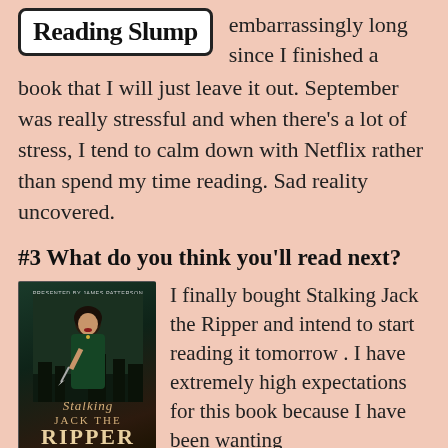[Figure (logo): Reading Slump logo in a rounded rectangle box]
embarrassingly long since I finished a book that I will just leave it out. September was really stressful and when there's a lot of stress, I tend to calm down with Netflix rather than spend my time reading. Sad reality uncovered.
#3 What do you think you'll read next?
[Figure (photo): Book cover of Stalking Jack the Ripper, presented by James Patterson, featuring a woman in dark clothing holding a knife]
I finally bought Stalking Jack the Ripper and intend to start reading it tomorrow . I have extremely high expectations for this book because I have been wanting